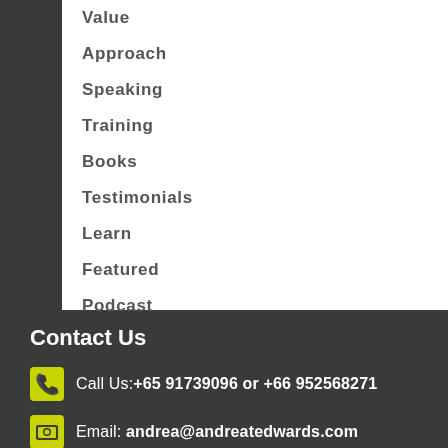Value
Approach
Speaking
Training
Books
Testimonials
Learn
Featured
Podcast
Blog
Connect
Uncommon Courage
Contact Us
Call Us:+65 91739096 or +66 952568271
Email: andrea@andreatedwards.com